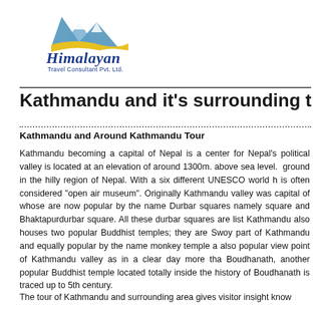[Figure (logo): Himalayan Travel Consultant Pvt. Ltd. logo with mountain illustration and stylized text]
Kathmandu and it's surrounding t…
Kathmandu and Around Kathmandu Tour
Kathmandu becoming a capital of Nepal is a center for Nepal's political valley is located at an elevation of around 1300m. above sea level. ground in the hilly region of Nepal. With a six different UNESCO world h is often considered "open air museum". Originally Kathmandu valley was capital of whose are now popular by the name Durbar squares namely square and Bhaktapurdurbar square. All these durbar squares are listed Kathmandu also houses two popular Buddhist temples; they are Swoy part of Kathmandu and equally popular by the name monkey temple also popular view point of Kathmandu valley as in a clear day more tha Boudhanath, another popular Buddhist temple located totally inside the history of Boudhanath is traced up to 5th century.
The tour of Kathmandu and surrounding area gives visitor insight kno…